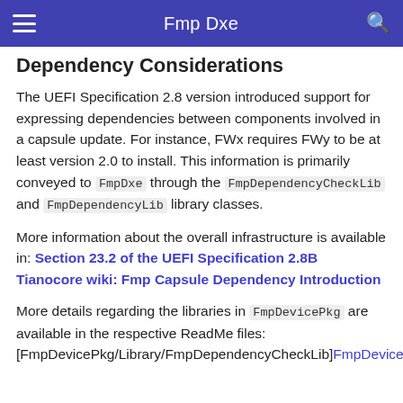Fmp Dxe
Dependency Considerations
The UEFI Specification 2.8 version introduced support for expressing dependencies between components involved in a capsule update. For instance, FWx requires FWy to be at least version 2.0 to install. This information is primarily conveyed to FmpDxe through the FmpDependencyCheckLib and FmpDependencyLib library classes.
More information about the overall infrastructure is available in: Section 23.2 of the UEFI Specification 2.8B Tianocore wiki: Fmp Capsule Dependency Introduction
More details regarding the libraries in FmpDevicePkg are available in the respective ReadMe files: [FmpDevicePkg/Library/FmpDependencyCheckLib]FmpDevicePkg/Library/FmpDependencyCheckLib/ReadMe.md